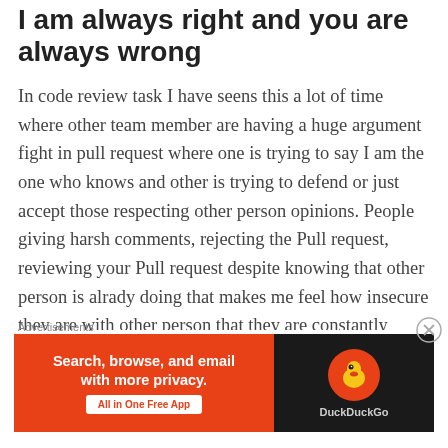I am always right and you are always wrong
In code review task I have seens this a lot of time where other team member are having a huge argument fight in pull request where one is trying to say I am the one who knows and other is trying to defend or just accept those respecting other person opinions. People giving harsh comments, rejecting the Pull request, reviewing your Pull request despite knowing that other person is alrady doing that makes me feel how insecure they are with other person that they are constantly trying to bring people
Advertisements
[Figure (other): DuckDuckGo advertisement banner: orange left panel with text 'Search, browse, and email with more privacy. All in One Free App' and dark right panel with DuckDuckGo duck logo]